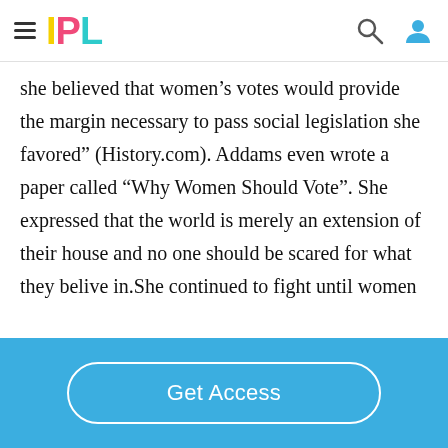IPL
she believed that women’s votes would provide the margin necessary to pass social legislation she favored” (History.com). Addams even wrote a paper called “Why Women Should Vote”. She expressed that the world is merely an extension of their house and no one should be scared for what they belive in.She continued to fight until women
Get Access